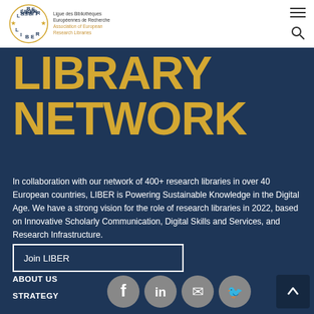[Figure (logo): LIBER logo — circular badge with stars and text 'LIBER', alongside text 'Ligue des Bibliothèques Européennes de Recherche / Association of European Research Libraries']
LIBRARY NETWORK
In collaboration with our network of 400+ research libraries in over 40 European countries, LIBER is Powering Sustainable Knowledge in the Digital Age. We have a strong vision for the role of research libraries in 2022, based on Innovative Scholarly Communication, Digital Skills and Services, and Research Infrastructure.
Join LIBER
ABOUT US
STRATEGY
[Figure (illustration): Social media icons: Facebook, LinkedIn, Swirled/Mailchimp, Twitter — white icons on grey circular backgrounds]